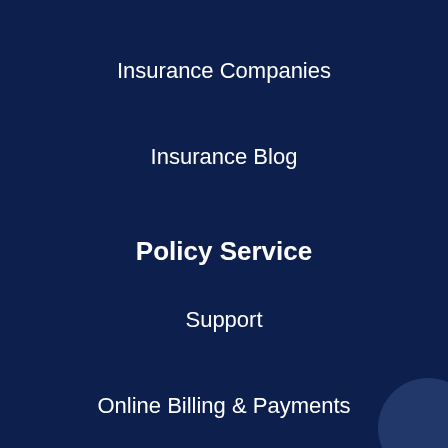Insurance Companies
Insurance Blog
Policy Service
Support
Online Billing & Payments
Policy Change Request